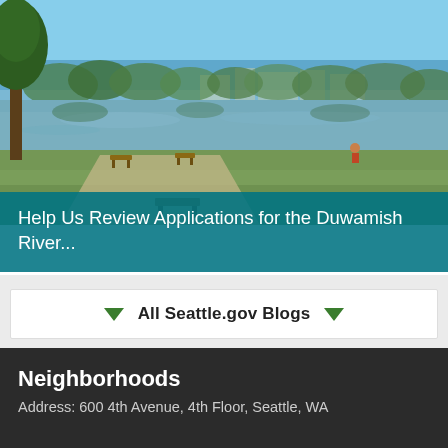[Figure (photo): Outdoor park scene along the Duwamish River with green trees, benches, a walking path, grassy lawn, and a calm river reflection under a clear blue sky with buildings visible in the background.]
Help Us Review Applications for the Duwamish River...
All Seattle.gov Blogs
Neighborhoods
Address: 600 4th Avenue, 4th Floor, Seattle, WA